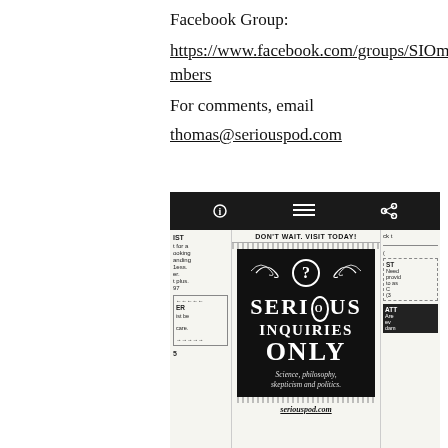Facebook Group:
https://www.facebook.com/groups/SIOmembers
For comments, email
thomas@seriouspod.com
[Figure (screenshot): A smartphone screenshot showing a newspaper-style advertisement for 'Serious Inquiries Only' podcast/show with the text 'DON'T WAIT. VISIT TODAY!' at the top and a black box with a question mark logo, the title 'SERIOUS INQUIRIES ONLY', and subtitle 'Science, philosophy, skepticism and politics.']